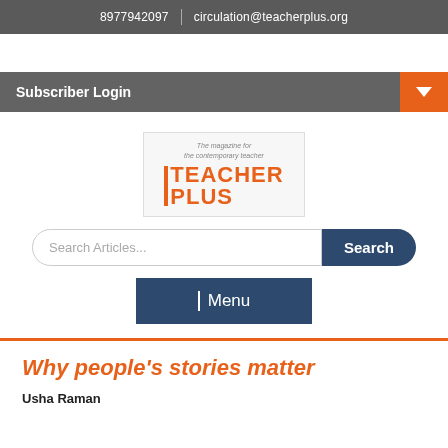8977942097 | circulation@teacherplus.org
Subscriber Login
[Figure (logo): Teacher Plus magazine logo with tagline 'The magazine for the contemporary teacher']
Search Articles...
Menu
Why people's stories matter
Usha Raman